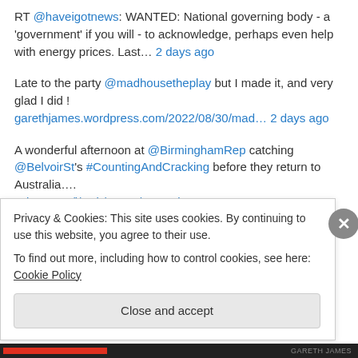RT @haveigotnews: WANTED: National governing body - a 'government' if you will - to acknowledge, perhaps even help with energy prices. Last… 2 days ago
Late to the party @madhousetheplay but I made it, and very glad I did ! garethjames.wordpress.com/2022/08/30/mad… 2 days ago
A wonderful afternoon at @BirminghamRep catching @BelvoirSt's #CountingAndCracking before they return to Australia…. twitter.com/i/web/status/1… 5 days ago
@britishmuseum Great Court this morning before the crowd descended https://t.co/PE0DBnkD37 6 days ago
A wonderful evening @operahollandpk for @RYOpera's production of
Privacy & Cookies: This site uses cookies. By continuing to use this website, you agree to their use.
To find out more, including how to control cookies, see here: Cookie Policy
Close and accept